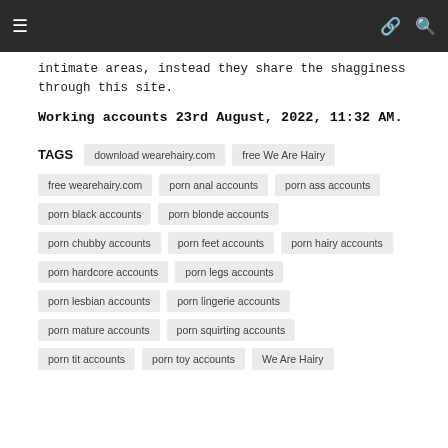≡  🔗  🔍
intimate areas, instead they share the shagginess through this site.
Working accounts 23rd August, 2022, 11:32 AM.
TAGS  download wearehairy.com  free We Are Hairy  free wearehairy.com  porn anal accounts  porn ass accounts  porn black accounts  porn blonde accounts  porn chubby accounts  porn feet accounts  porn hairy accounts  porn hardcore accounts  porn legs accounts  porn lesbian accounts  porn lingerie accounts  porn mature accounts  porn squirting accounts  porn tit accounts  porn toy accounts  We Are Hairy